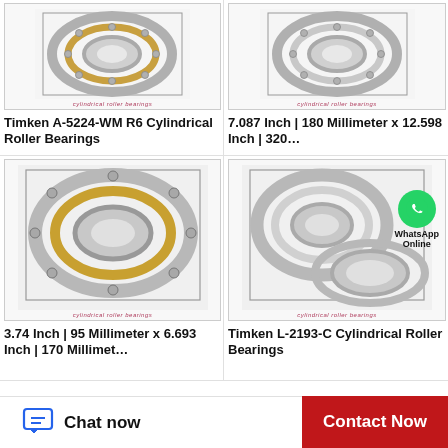[Figure (photo): Cylindrical roller bearing - Timken A-5224-WM R6, top-left product image with 'cylindrical roller bearings' watermark]
Timken A-5224-WM R6 Cylindrical Roller Bearings
[Figure (photo): Cylindrical roller bearing - 7.087 Inch 180 Millimeter x 12.598 Inch 320, top-right product image with 'cylindrical roller bearings' watermark]
7.087 Inch | 180 Millimeter x 12.598 Inch | 320…
[Figure (photo): Cylindrical roller bearing - 3.74 Inch 95 Millimeter x 6.693 Inch 170, bottom-left product image with 'cylindrical roller bearings' watermark]
3.74 Inch | 95 Millimeter x 6.693 Inch | 170 Millimet…
[Figure (photo): Cylindrical roller bearings - Timken L-2193-C, bottom-right product image with WhatsApp Online overlay and 'cylindrical roller bearings' watermark]
Timken L-2193-C Cylindrical Roller Bearings
Chat now
Contact Now